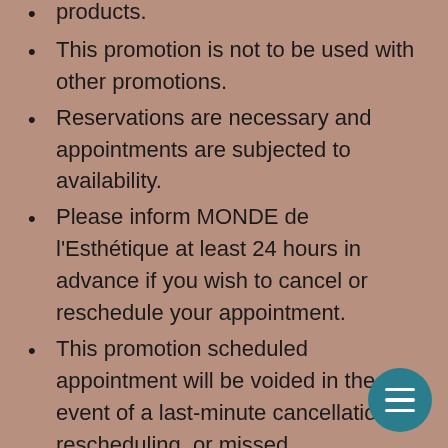products.
This promotion is not to be used with other promotions.
Reservations are necessary and appointments are subjected to availability.
Please inform MONDE de l'Esthétique at least 24 hours in advance if you wish to cancel or reschedule your appointment.
This promotion scheduled appointment will be voided in the event of a last-minute cancellation, rescheduling, or missed appointment.
MONDE de l'Esthétique reserves the right to amend the terms and conditions without prior notice.
This promotion is valid for 2 months from